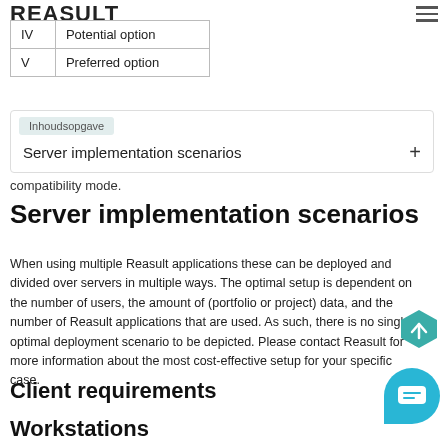REASULT
| IV | Potential option |
| V | Preferred option |
Inhoudsopgave
Server implementation scenarios +
compatibility mode.
Server implementation scenarios
When using multiple Reasult applications these can be deployed and divided over servers in multiple ways. The optimal setup is dependent on the number of users, the amount of (portfolio or project) data, and the number of Reasult applications that are used. As such, there is no single optimal deployment scenario to be depicted. Please contact Reasult for more information about the most cost-effective setup for your specific case.
Client requirements
Workstations